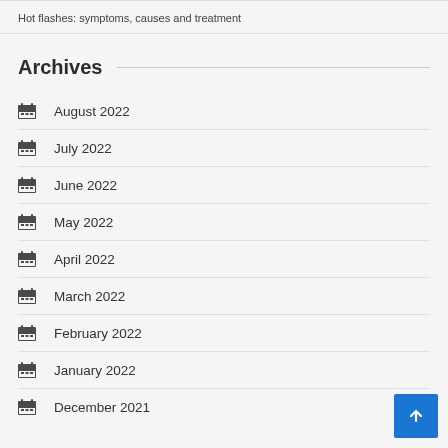Hot flashes: symptoms, causes and treatment
Archives
August 2022
July 2022
June 2022
May 2022
April 2022
March 2022
February 2022
January 2022
December 2021